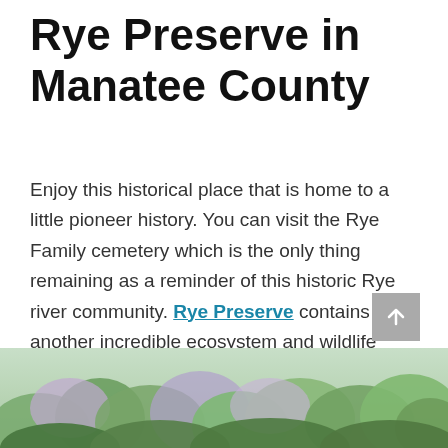Rye Preserve in Manatee County
Enjoy this historical place that is home to a little pioneer history. You can visit the Rye Family cemetery which is the only thing remaining as a reminder of this historic Rye river community. Rye Preserve contains another incredible ecosystem and wildlife residents. Some sightings include the rare gopher tortoise and Florida scrub-jay.
[Figure (photo): Outdoor nature photo showing dense green and purple flowering scrub vegetation, likely the Rye Preserve landscape.]